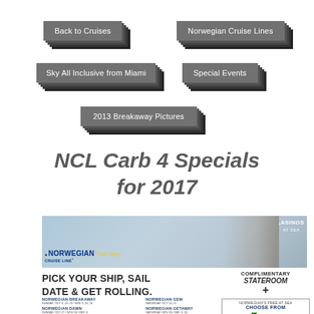Back to Cruises
Norwegian Cruise Lines
Sky All Inclusive from Miami
Special Events
2013 Breakaway Pictures
NCL Carb 4 Specials for 2017
[Figure (screenshot): Norwegian Cruise Line promotional banner showing a person on a ship deck, NORWEGIAN That Way logo, CASINOS AT SEA text]
PICK YOUR SHIP, SAIL DATE & GET ROLLING.
NORWEGIAN BREAKAWAY
SUNDAY: OCT 9, 13, 23 / NOV 3, 20, 26
NORWEGIAN DAWN
SUNDAY: OCT 27 / NOV 26 / DEC 3
NORWEGIAN GEM
SATURDAY: OCT 14, 21
NORWEGIAN GETAWAY
SATURDAY: NOV 26 / DEC 3, 10
COMPLIMENTARY
STATEROOM
+
NORWEGIAN'S FREE AT SEA
CHOOSE FROM
5 Free